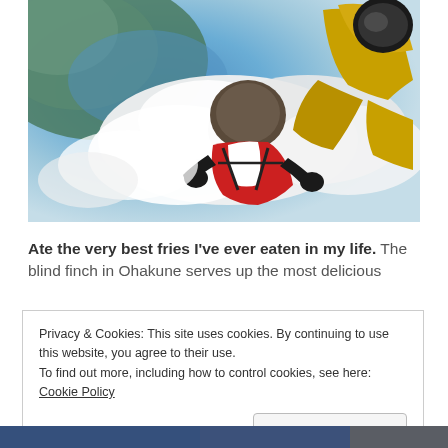[Figure (photo): Tandem skydiving photo taken from high altitude, showing two skydivers in freefall over coastline with clouds and ocean visible below. One person wears a yellow suit, the other a red and white suit.]
Ate the very best fries I've ever eaten in my life. The blind finch in Ohakune serves up the most delicious
Privacy & Cookies: This site uses cookies. By continuing to use this website, you agree to their use.
To find out more, including how to control cookies, see here: Cookie Policy
[Close and accept]
[Figure (photo): Partial bottom strip showing another photo, partially cropped.]